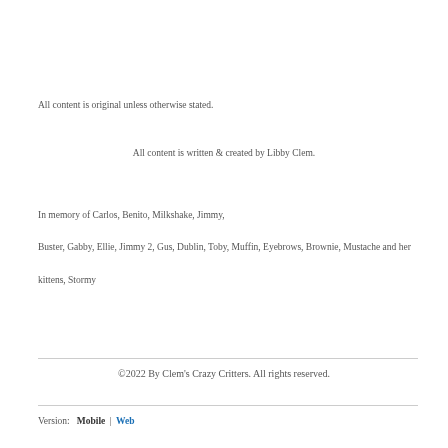All content is original unless otherwise stated.
All content is written & created by Libby Clem.
In memory of Carlos, Benito, Milkshake, Jimmy, Buster, Gabby, Ellie, Jimmy 2, Gus, Dublin, Toby, Muffin, Eyebrows, Brownie, Mustache and her kittens, Stormy
©2022 By Clem's Crazy Critters. All rights reserved.
Version: Mobile | Web